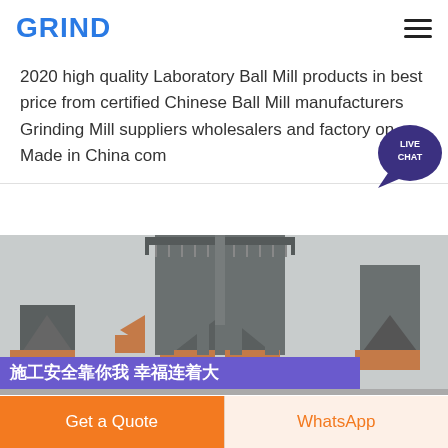GRIND
2020 high quality Laboratory Ball Mill products in best price from certified Chinese Ball Mill manufacturers Grinding Mill suppliers wholesalers and factory on Made in China com
[Figure (photo): Industrial grinding mill facility with large machinery structure, multiple cone-shaped mill units on elevated platform with Chinese safety banner reading 施工安全靠你我 幸福连着大家]
Get a Quote
WhatsApp